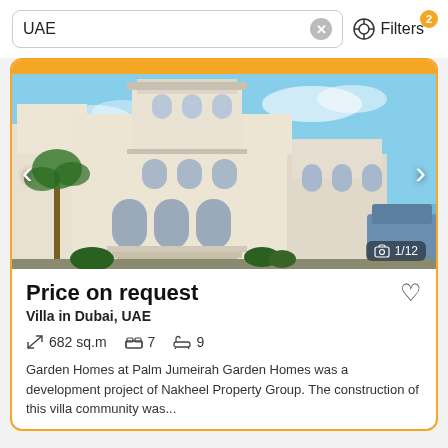UAE
Filters 2
[Figure (photo): Exterior photo of a large white Mediterranean-style villa with arched windows and balconies against a blue sky, with palm trees visible. Navigation arrows and image counter 1/12 overlay.]
Price on request
Villa in Dubai, UAE
682 sq.m  7  9
Garden Homes at Palm Jumeirah Garden Homes was a development project of Nakheel Property Group. The construction of this villa community was...